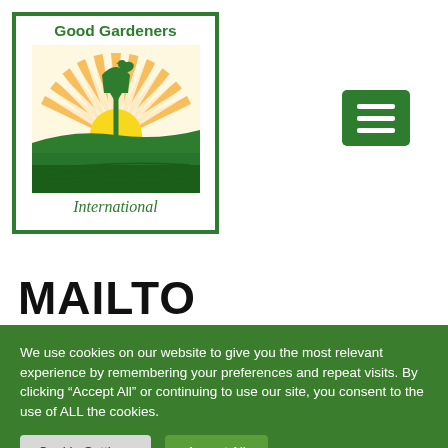[Figure (logo): Good Gardeners International logo: green bordered box with 'Good Gardeners' text at top, central illustration of a spade/shovel with sunburst rays, bird, and green rolling hills/fields, 'International' text at bottom in italic green serif font.]
MAILTO
We use cookies on our website to give you the most relevant experience by remembering your preferences and repeat visits. By clicking “Accept All” or continuing to use our site, you consent to the use of ALL the cookies.
Cookie Settings
Accept All